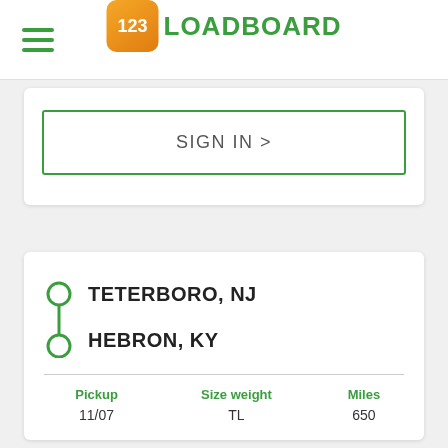123LOADBOARD
SIGN IN >
TETERBORO, NJ
HEBRON, KY
| Pickup | Size weight | Miles |
| --- | --- | --- |
| 11/07 | TL | 650 |